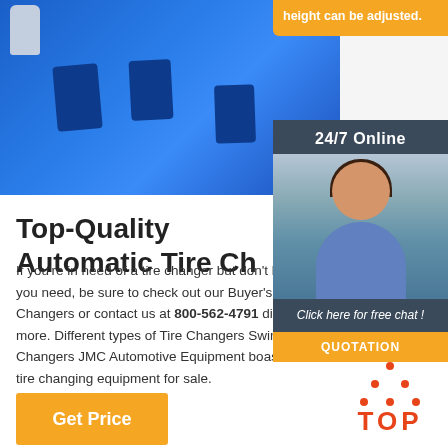[Figure (photo): Blue plastic tire changer equipment with dark rectangular slots, with an orange callout bubble saying 'height can be adjusted.']
Top-Quality Automatic Tire Ch
If you're in need of a tire changer but don't kn you need, be sure to check out our Buyer's C Changers or contact us at 800-562-4791 dire more. Different types of Tire Changers Swing Changers JMC Automotive Equipment boast tire changing equipment for sale.
[Figure (photo): 24/7 Online customer service agent - woman with headset smiling. Click here for free chat! QUOTATION button.]
Get Price
[Figure (logo): TOP logo with orange dots forming a triangle above the word TOP in red/orange letters]